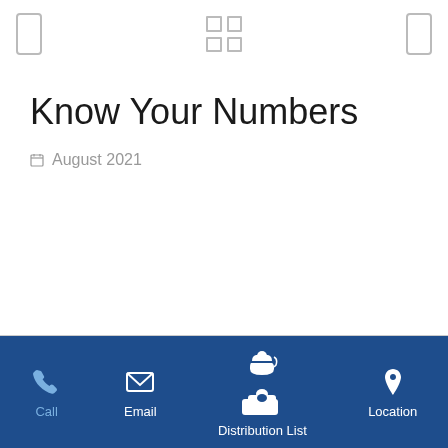navigation header with back, grid, and forward icons
Know Your Numbers
August 2021
Call | Email | Distribution List | Location